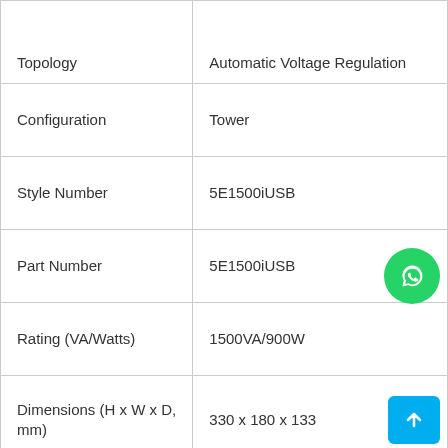| Property | Value |
| --- | --- |
| Topology | Automatic Voltage Regulation |
| Configuration | Tower |
| Style Number | 5E1500iUSB |
| Part Number | 5E1500iUSB |
| Rating (VA/Watts) | 1500VA/900W |
| Dimensions (H x W x D, mm) | 330 x 180 x 133 |
| Weight (kg) | 10.46 |
| Warranty | 2 years |
|  |  |